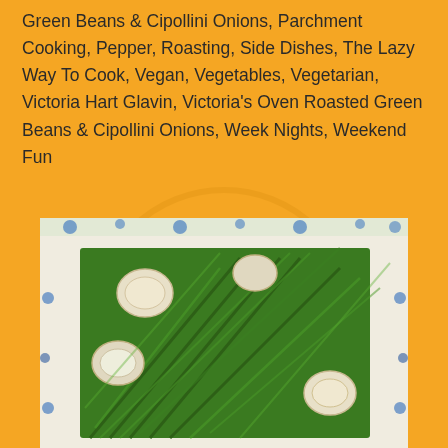Green Beans & Cipollini Onions, Parchment Cooking, Pepper, Roasting, Side Dishes, The Lazy Way To Cook, Vegan, Vegetables, Vegetarian, Victoria Hart Glavin, Victoria's Oven Roasted Green Beans & Cipollini Onions, Week Nights, Weekend Fun
[Figure (photo): A photo of roasted green beans and cipollini onions served on a decorative white plate with blue floral pattern around the rim.]